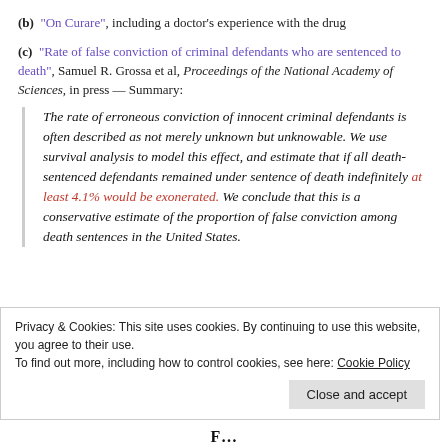(b) "On Curare", including a doctor's experience with the drug
(c) "Rate of false conviction of criminal defendants who are sentenced to death", Samuel R. Grossa et al, Proceedings of the National Academy of Sciences, in press — Summary:
The rate of erroneous conviction of innocent criminal defendants is often described as not merely unknown but unknowable. We use survival analysis to model this effect, and estimate that if all death-sentenced defendants remained under sentence of death indefinitely at least 4.1% would be exonerated. We conclude that this is a conservative estimate of the proportion of false conviction among death sentences in the United States.
Privacy & Cookies: This site uses cookies. By continuing to use this website, you agree to their use.
To find out more, including how to control cookies, see here: Cookie Policy
Close and accept